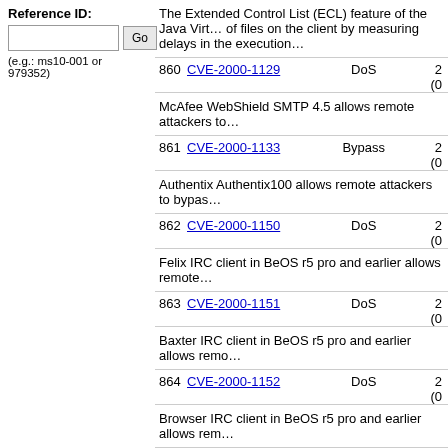Reference ID:
(e.g.: ms10-001 or 979352)
The Extended Control List (ECL) feature of the Java Virtual Machine allows attackers to determine the existence of files on the client by measuring delays in the execution...
860 CVE-2000-1129 DoS
McAfee WebShield SMTP 4.5 allows remote attackers to...
861 CVE-2000-1133 Bypass
Authentix Authentix100 allows remote attackers to bypass...
862 CVE-2000-1150 DoS
Felix IRC client in BeOS r5 pro and earlier allows remote...
863 CVE-2000-1151 DoS
Baxter IRC client in BeOS r5 pro and earlier allows remo...
864 CVE-2000-1152 DoS
Browser IRC client in BeOS r5 pro and earlier allows rem...
865 CVE-2000-1153 DoS
PostMaster 1.0 in BeOS r5 pro and earlier allows remote...
866 CVE-2000-1154 DoS